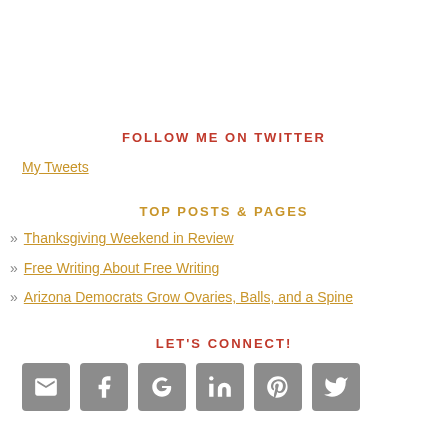FOLLOW ME ON TWITTER
My Tweets
TOP POSTS & PAGES
Thanksgiving Weekend in Review
Free Writing About Free Writing
Arizona Democrats Grow Ovaries, Balls, and a Spine
LET'S CONNECT!
[Figure (infographic): Six social media icon buttons: email, Facebook, Google+, LinkedIn, Pinterest, Twitter — grey rounded square buttons with white icons]